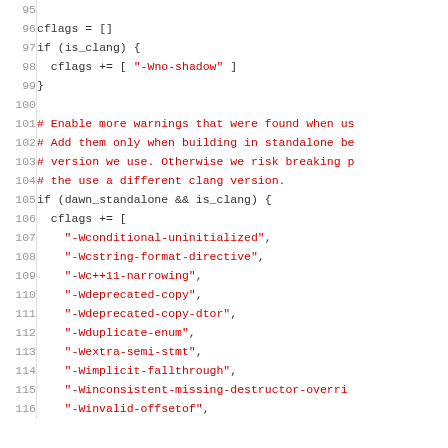[Figure (screenshot): Source code listing showing lines 96-116 of a build configuration file (likely GN build system). Code shows cflags array initialization, clang detection, and warning flags for standalone Dawn builds. Syntax highlighted with line numbers in gray, comments in dark red, string literals in dark red, and code in dark/black.]